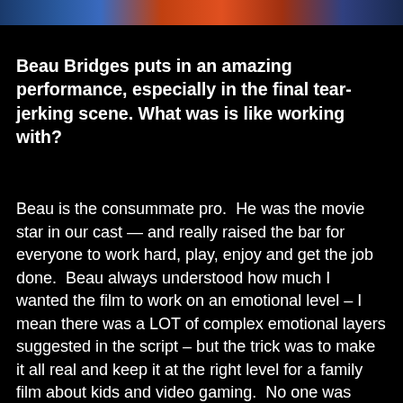[Figure (photo): Horizontal image bar at the top of the page showing a dark cinematic scene with blue and orange hues]
Beau Bridges puts in an amazing performance, especially in the final tear-jerking scene. What was is like working with?
Beau is the consummate pro.  He was the movie star in our cast — and really raised the bar for everyone to work hard, play, enjoy and get the job done.  Beau always understood how much I wanted the film to work on an emotional level – I mean there was a LOT of complex emotional layers suggested in the script – but the trick was to make it all real and keep it at the right level for a family film about kids and video gaming.  No one was smarter than Beau about finding that level…